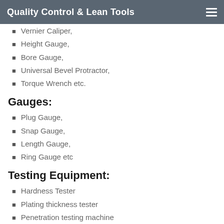Quality Control & Lean Tools
Vernier Caliper,
Height Gauge,
Bore Gauge,
Universal Bevel Protractor,
Torque Wrench etc.
Gauges:
Plug Gauge,
Snap Gauge,
Length Gauge,
Ring Gauge etc
Testing Equipment:
Hardness Tester
Plating thickness tester
Penetration testing machine
UTM